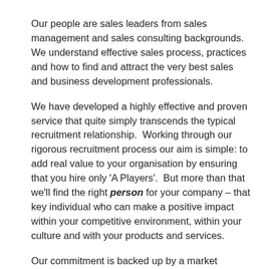Our people are sales leaders from sales management and sales consulting backgrounds.  We understand effective sales process, practices and how to find and attract the very best sales and business development professionals.
We have developed a highly effective and proven service that quite simply transcends the typical recruitment relationship.  Working through our rigorous recruitment process our aim is simple: to add real value to your organisation by ensuring that you hire only 'A Players'.  But more than that we'll find the right person for your company – that key individual who can make a positive impact within your competitive environment, within your culture and with your products and services.
Our commitment is backed up by a market beating 12 month guarantee.  This is a demonstration of our confidence in making the right hire for you and our desire to build a trusted partnership.